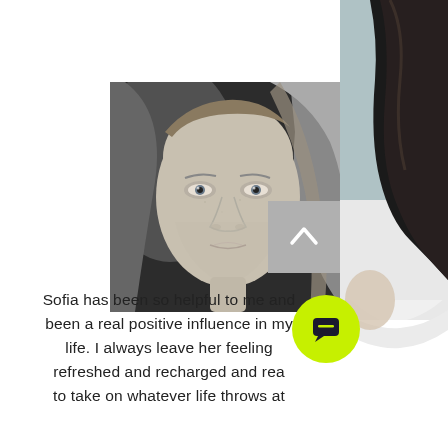[Figure (photo): Black and white portrait of a young man with long blonde hair looking directly at the camera]
[Figure (photo): Partial side view of a woman with dark hair wearing a white top, cropped on the right edge]
Sofia has been so helpful to me and been a real positive influence in my life. I always leave her feeling refreshed and recharged and rea to take on whatever life throws at